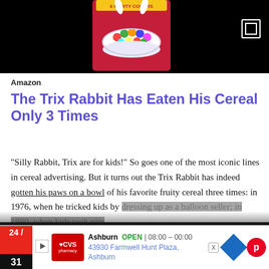[Figure (photo): Screenshot of a webpage showing a Trix cereal box with colorful cereal balls in a bowl, displayed on a dark/black background. An expand icon appears in the top right corner.]
Amazon
The Trix Rabbit Has Eaten His Cereal Only 3 Times
"Silly Rabbit, Trix are for kids!" So goes one of the most iconic lines in cereal advertising. But it turns out the Trix Rabbit has indeed gotten his paws on a bowl of his favorite fruity cereal three times: in 1976, when he tricked kids by dressing up as a balloon seller; in 1980, when kids took pity...
[Figure (screenshot): Video overlay showing 'Video of the Day: - The Beauty in Monotony' with a dark thumbnail of what appears to be industrial/mechanical equipment. A close (X) button appears in the top right.]
[Figure (other): Advertisement bar for CVS Pharmacy in Ashburn showing hours OPEN 08:00-00:00 and address 43930 Farmwell Hunt Plaza, Ashburn. Includes date 24/31, CVS logo, navigation icons, and Pinterest button.]